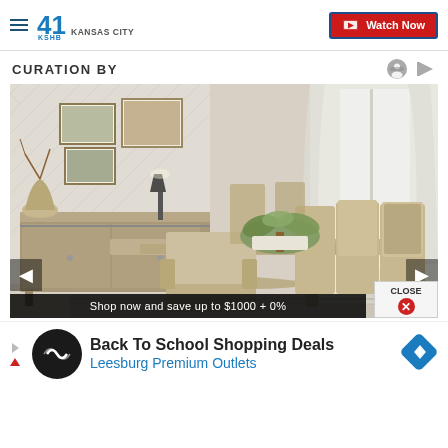41 KSHB KANSAS CITY — Watch Now
CURATION BY
[Figure (photo): A dining room scene featuring a large rustic gray-washed wood dining table with upholstered chairs and arm chairs, a sideboard with sliding barn-door hardware, framed artwork, decorative plants and a lamp, with sheer curtains and a herringbone wallpaper backdrop on a patterned area rug.]
Shop now and save up to $1000 + 0%
Back To School Shopping Deals
Leesburg Premium Outlets